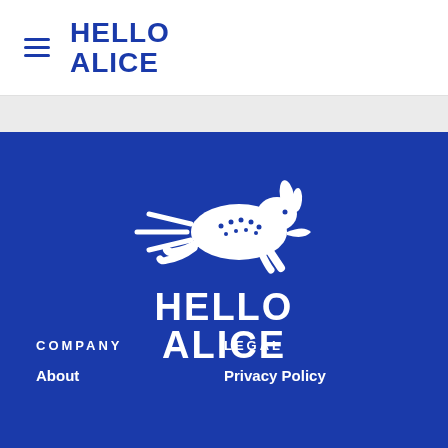HELLO ALICE
[Figure (logo): Hello Alice logo: white running rabbit with stars on blue background, with HELLO ALICE text in white below]
COMPANY
LEGAL
About
Privacy Policy